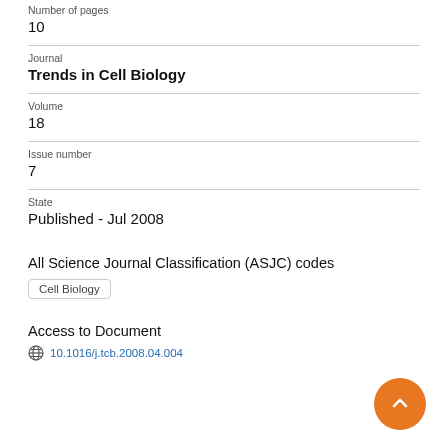Number of pages
10
Journal
Trends in Cell Biology
Volume
18
Issue number
7
State
Published - Jul 2008
All Science Journal Classification (ASJC) codes
Cell Biology
Access to Document
10.1016/j.tcb.2008.04.004